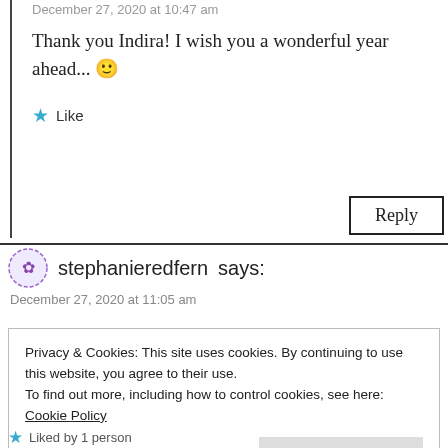December 27, 2020 at 10:47 am
Thank you Indira! I wish you a wonderful year ahead... 🙂
Like
Reply
stephanieredfern says:
December 27, 2020 at 11:05 am
Privacy & Cookies: This site uses cookies. By continuing to use this website, you agree to their use.
To find out more, including how to control cookies, see here: Cookie Policy
Close and accept
Liked by 1 person